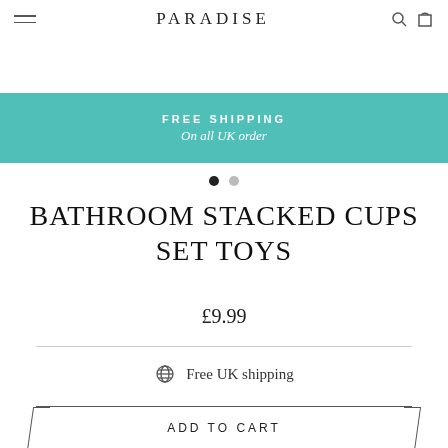PARADISE
[Figure (other): Teal banner with FREE SHIPPING text and subtitle On all UK order]
FREE SHIPPING
On all UK order
BATHROOM STACKED CUPS SET TOYS
£9.99
Free UK shipping
ADD TO CART